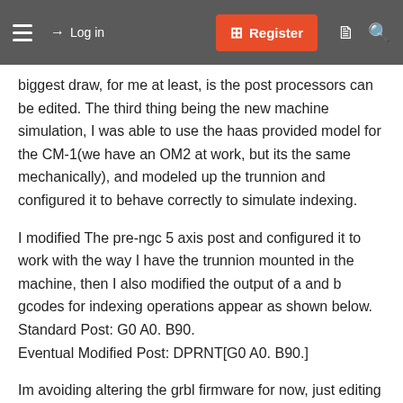≡   → Log in   ⊞ Register   🗎   🔍
biggest draw, for me at least, is the post processors can be edited. The third thing being the new machine simulation, I was able to use the haas provided model for the CM-1(we have an OM2 at work, but its the same mechanically), and modeled up the trunnion and configured it to behave correctly to simulate indexing.
I modified The pre-ngc 5 axis post and configured it to work with the way I have the trunnion mounted in the machine, then I also modified the output of a and b gcodes for indexing operations appear as shown below.
Standard Post: G0 A0. B90.
Eventual Modified Post: DPRNT[G0 A0. B90.]
Im avoiding altering the grbl firmware for now, just editing